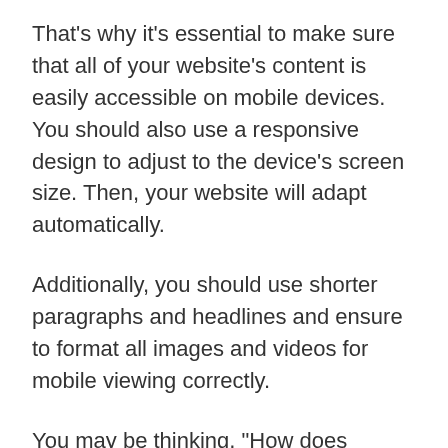That's why it's essential to make sure that all of your website's content is easily accessible on mobile devices. You should also use a responsive design to adjust to the device's screen size. Then, your website will adapt automatically.
Additionally, you should use shorter paragraphs and headlines and ensure to format all images and videos for mobile viewing correctly.
You may be thinking, "How does mobile